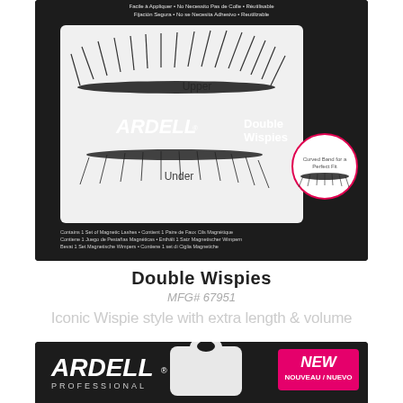[Figure (photo): Ardell Double Wispies Magnetic Lashes product packaging (top view). Black box showing upper and lower magnetic lashes with 'Double Wispies' branding and multilingual text.]
Double Wispies
MFG# 67951
Iconic Wispie style with extra length & volume
[Figure (photo): Ardell Professional Magnetic Lashes product packaging (bottom, partially cropped). Black box with pink 'Magnetic Lashes' text, 'NEW / NOUVEAU / NUEVO' badge, 'Easy to Apply • No Adhesive Needed • Reusable' strip.]